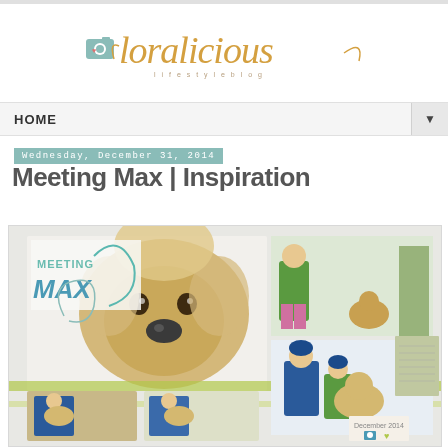[Figure (logo): Loralicious blog logo in gold script with teal camera icon]
HOME
Wednesday, December 31, 2014
Meeting Max | Inspiration
[Figure (photo): Scrapbook layout titled 'Meeting Max' featuring photos of a fluffy puppy and children playing outdoors in winter, with decorative elements in teal and green]